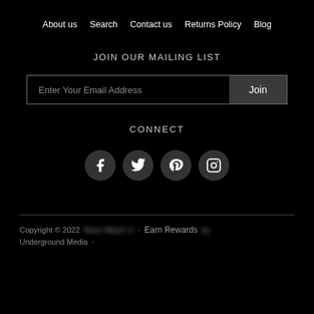About us  Search  Contact us  Returns Policy  Blog
JOIN OUR MAILING LIST
Enter Your Email Address  Join
CONNECT
[Figure (illustration): Four social media icon circles: Facebook, Twitter, Pinterest, Instagram]
Copyright © 2022  [blurred] · Earn Rewards [blurred] · Underground Media ·